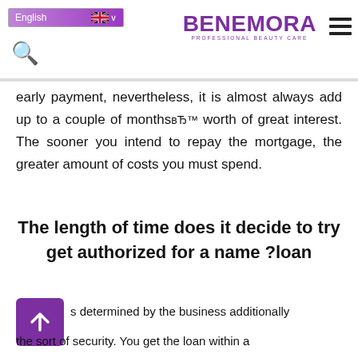English | BENEMORA PROFESSIONAL BEAUTY CARE
early payment, nevertheless, it is almost always add up to a couple of months™ worth of great interest. The sooner you intend to repay the mortgage, the greater amount of costs you must spend.
The length of time does it decide to try get authorized for a name loan?
s determined by the business additionally the sort of security. You get the loan within a